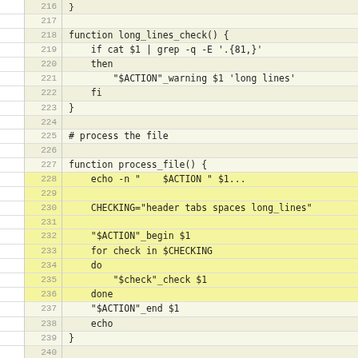[Figure (screenshot): Source code viewer showing shell script lines 216-246 with line numbers on the left and code on the right. Contains functions long_lines_check(), process_file(), and process_all with shell scripting syntax.]